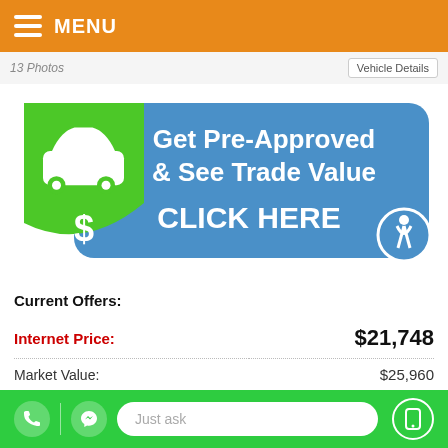MENU
13 Photos · Vehicle Details
[Figure (infographic): Get Pre-Approved & See Trade Value — CLICK HERE banner with green shield/car icon and blue rounded rectangle, accessibility icon bottom right]
Current Offers:
|  |  |
| --- | --- |
| Internet Price: | $21,748 |
| Market Value: | $25,960 |
| eDiscount: | $4,212 |
Just ask (chat bar with phone and messenger icons)